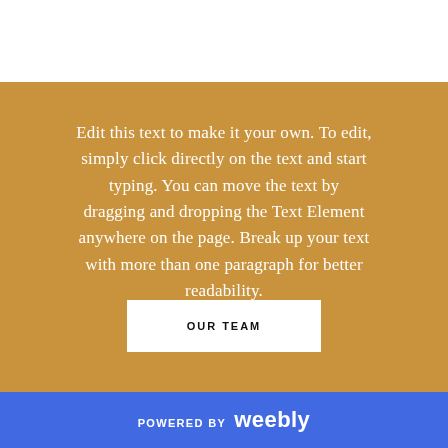Edit this text to make it your own. To edit, simply click directly on the text and start typing. You can move the text by dragging and dropping the Text Element anywhere on the page. Break up your text with more than one paragraph for better readability.
OUR TEAM
POWERED BY weebly